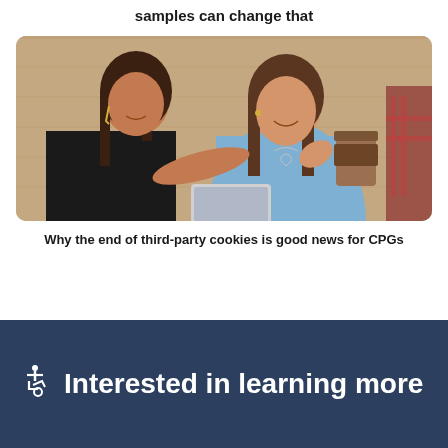samples can change that
[Figure (photo): Two women sitting together, one in a black sleeveless top and one in a light blue turtleneck sweater, looking at each other and smiling, with a tablet device. Background shows a wooden wall and a coffee cup.]
Why the end of third-party cookies is good news for CPGs
Interested in learning more